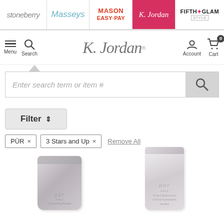stoneberry | Masseys | MASON EASY-PAY | K. Jordan | FIFTH GLAM
[Figure (screenshot): K. Jordan website main navigation bar with Menu, Search, K.Jordan logo, Account, Cart icons]
[Figure (screenshot): Search bar with placeholder text 'Enter search term or item #' and search button]
[Figure (screenshot): Filter button with PÜR and 3 Stars and Up filter tags and Remove All link]
[Figure (photo): PÜR 4-in-1 Correcting Primer product tube thumbnail]
[Figure (photo): PÜR 4-in-1 Tinted Moisturizer Crème hydratante teintée product tube thumbnail]